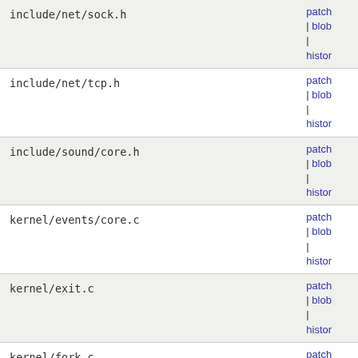| filename | links |
| --- | --- |
| include/net/sock.h | patch | blob | histor |
| include/net/tcp.h | patch | blob | histor |
| include/sound/core.h | patch | blob | histor |
| kernel/events/core.c | patch | blob | histor |
| kernel/exit.c | patch | blob | histor |
| kernel/fork.c | patch | blob | histor |
| kernel/kprobes.c | patch | blob | histor |
| kernel/power/power.h | patch | blob | histor |
| kernel/power/process.c | patch | blob | histor |
| kernel/power/user.c | patch |